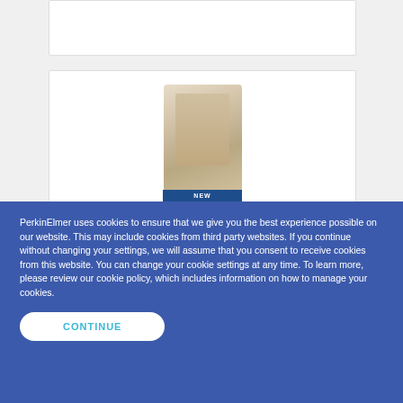[Figure (photo): Top product card partially visible, white background with border]
[Figure (photo): Product vial/tube image with 'NEW' badge overlay on blue banner, PerkinElmer AlphaLISA SureFire Ultra Human Total Tau assay product listing]
AlphaLISA SureFire Ultra Human Total Tau Assay Kit
ALSUTAU-kit
SureFire Ultra Total Tau Assay This
List Price :
129.00 USD
PerkinElmer uses cookies to ensure that we give you the best experience possible on our website. This may include cookies from third party websites. If you continue without changing your settings, we will assume that you consent to receive cookies from this website. You can change your cookie settings at any time. To learn more, please review our cookie policy, which includes information on how to manage your cookies.
CONTINUE